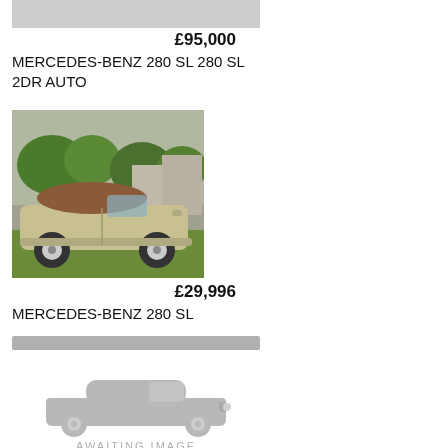[Figure (photo): Partial top of a car listing image cropped at top of page]
£95,000
MERCEDES-BENZ 280 SL 280 SL 2DR AUTO
[Figure (photo): Photo of a gold/champagne Mercedes-Benz 280 SL convertible with brown soft top, parked on grass with trees and buildings in background]
£29,996
MERCEDES-BENZ 280 SL
[Figure (illustration): Awaiting image placeholder with grey car silhouette icon and text AWAITING IMAGE]